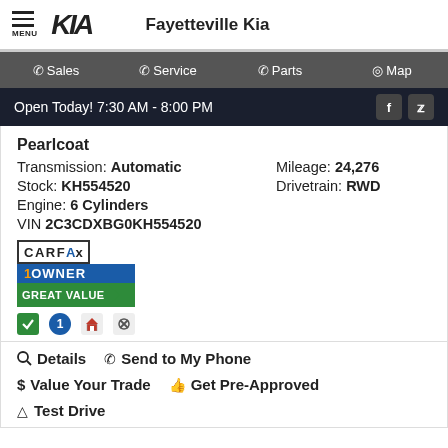Fayetteville Kia
Sales | Service | Parts | Map
Open Today! 7:30 AM - 8:00 PM
Pearlcoat
Transmission: Automatic  Mileage: 24,276  Stock: KH554520  Drivetrain: RWD  Engine: 6 Cylinders  VIN 2C3CDXBG0KH554520
[Figure (logo): CARFAX 1 Owner Great Value badge with icons]
Details  Send to My Phone  Value Your Trade  Get Pre-Approved  Test Drive